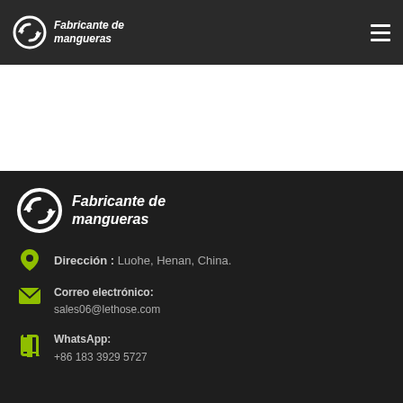Fabricante de mangueras
[Figure (logo): Fabricante de mangueras logo with circular arrow icon in header]
[Figure (logo): Fabricante de mangueras logo with circular arrow icon in footer]
Dirección : Luohe, Henan, China.
Correo electrónico:
sales06@lethose.com
WhatsApp:
+86 183 3929 5727